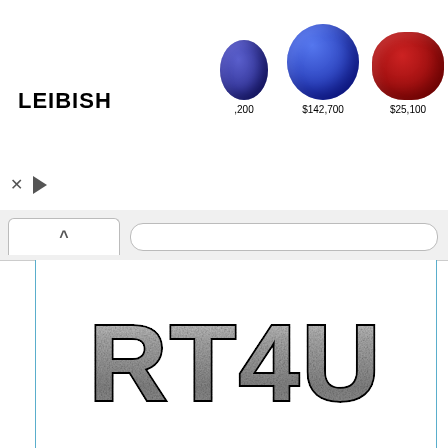[Figure (infographic): Leibish jewelry advertisement banner showing gemstones with prices: ,200 (blue oval sapphire), $142,700 (large blue sapphire), $25,100 (red ruby oval), $39,950 (blue heart sapphire), $2,450 (pink pear diamond), $2,8xx (partially visible brown diamond)]
[Figure (screenshot): Browser interface with tab showing caret symbol and URL bar]
[Figure (logo): RT4U logo in large distressed metallic font]
Have you got a bug to report?.. Or have a wonderful idea / suggestion?.. Or just to get the latest updates right onto your finger tips..